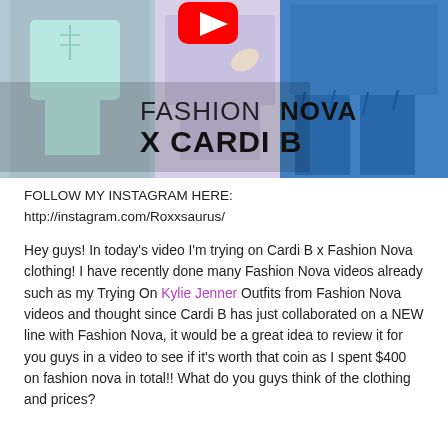[Figure (photo): Fashion Nova x Cardi B YouTube thumbnail showing models in colorful outfits with text overlay 'FASHION NOVA X CARDI B' and a YouTube play button icon.]
FOLLOW MY INSTAGRAM HERE:
http://instagram.com/Roxxsaurus/
Hey guys! In today's video I'm trying on Cardi B x Fashion Nova clothing! I have recently done many Fashion Nova videos already such as my Trying On Kylie Jenner Outfits from Fashion Nova videos and thought since Cardi B has just collaborated on a NEW line with Fashion Nova, it would be a great idea to review it for you guys in a video to see if it's worth that coin as I spent $400 on fashion nova in total!! What do you guys think of the clothing and prices?